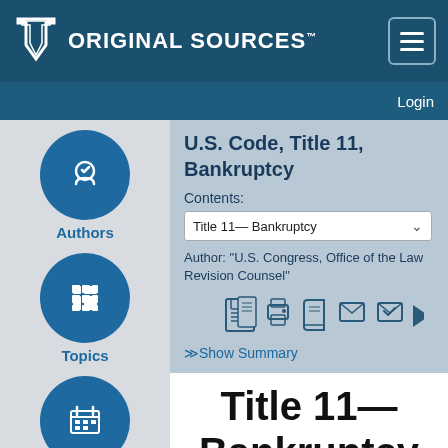Original Sources™
U.S. Code, Title 11, Bankruptcy
Contents:
Title 11— Bankruptcy
Author: "U.S. Congress, Office of the Law Revision Counsel"
≫Show Summary
Authors
Topics
Events
Contents
Title 11— Bankruptcy
This title was enacted by Pub. L. 95